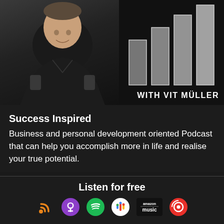[Figure (photo): Podcast banner image showing a man in a black jacket on the left, and a bar chart graphic on the right with the text 'WITH VIT MÜLLER']
Success Inspired
Business and personal development oriented Podcast that can help you accomplish more in life and realise your true potential.
Listen for free
[Figure (logo): Row of podcast platform icons: RSS feed, Apple Podcasts, Spotify, Google Podcasts, Amazon Music, Pocket Casts, and a bottom icon]